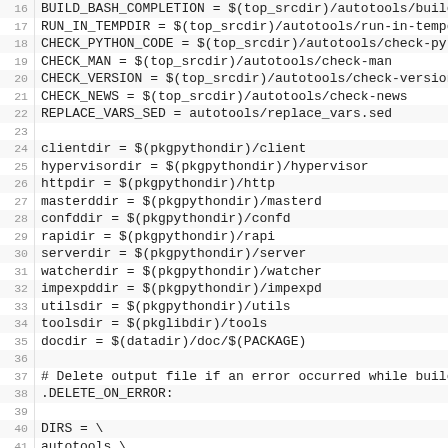Code listing lines 16-41 of a Makefile
16 BUILD_BASH_COMPLETION = $(top_srcdir)/autotools/build-ba
17 RUN_IN_TEMPDIR = $(top_srcdir)/autotools/run-in-tempdir
18 CHECK_PYTHON_CODE = $(top_srcdir)/autotools/check-python
19 CHECK_MAN = $(top_srcdir)/autotools/check-man
20 CHECK_VERSION = $(top_srcdir)/autotools/check-version
21 CHECK_NEWS = $(top_srcdir)/autotools/check-news
22 REPLACE_VARS_SED = autotools/replace_vars.sed
23
24 clientdir = $(pkgpythondir)/client
25 hypervisordir = $(pkgpythondir)/hypervisor
26 httpdir = $(pkgpythondir)/http
27 masterddir = $(pkgpythondir)/masterd
28 confddir = $(pkgpythondir)/confd
29 rapidir = $(pkgpythondir)/rapi
30 serverdir = $(pkgpythondir)/server
31 watcherdir = $(pkgpythondir)/watcher
32 impexpddir = $(pkgpythondir)/impexpd
33 utilsdir = $(pkgpythondir)/utils
34 toolsdir = $(pkglibdir)/tools
35 docdir = $(datadir)/doc/$(PACKAGE)
36
37 # Delete output file if an error occurred while building
38 .DELETE_ON_ERROR:
39
40 DIRS = \
41         autotools \